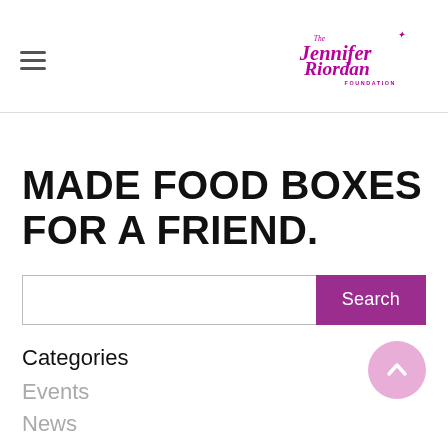[Figure (logo): The Jennifer Riordan Foundation logo in magenta/purple script with 'FOUNDATION' in small caps below]
MADE FOOD BOXES FOR A FRIEND.
Search (search input with button)
Categories
Events
News